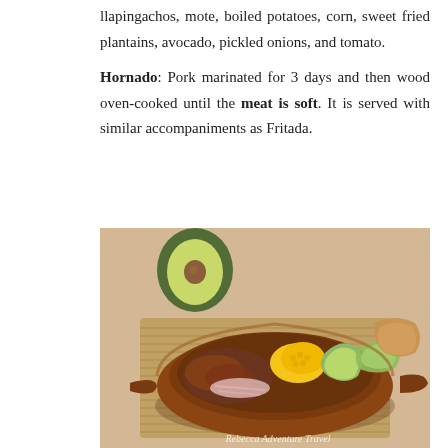llapingachos, mote, boiled potatoes, corn, sweet fried plantains, avocado, pickled onions, and tomato.

Hornado: Pork marinated for 3 days and then wood oven-cooked until the meat is soft. It is served with similar accompaniments as Fritada.
[Figure (photo): A clay oval dish containing hornado (braised pork) with avocado slices, corn, pickled onions, and lettuce, placed on a woven mat. A halved avocado is visible in the background. Watermark reads: Rebecca Adventure Travel.]